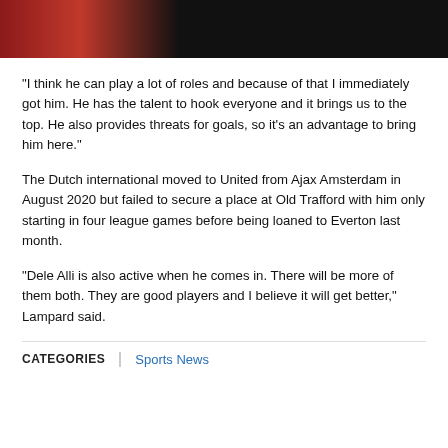[Figure (photo): Partial image with dark background and red elements at the top of the page]
“I think he can play a lot of roles and because of that I immediately got him. He has the talent to hook everyone and it brings us to the top. He also provides threats for goals, so it’s an advantage to bring him here.”
The Dutch international moved to United from Ajax Amsterdam in August 2020 but failed to secure a place at Old Trafford with him only starting in four league games before being loaned to Everton last month.
“Dele Alli is also active when he comes in. There will be more of them both. They are good players and I believe it will get better,” Lampard said.
CATEGORIES   Sports News